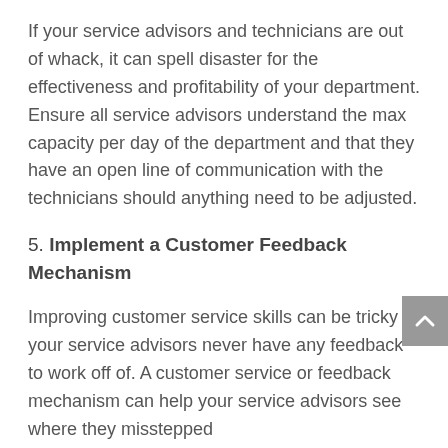If your service advisors and technicians are out of whack, it can spell disaster for the effectiveness and profitability of your department. Ensure all service advisors understand the max capacity per day of the department and that they have an open line of communication with the technicians should anything need to be adjusted.
5. Implement a Customer Feedback Mechanism
Improving customer service skills can be tricky if your service advisors never have any feedback to work off of. A customer service or feedback mechanism can help your service advisors see where they misstepped